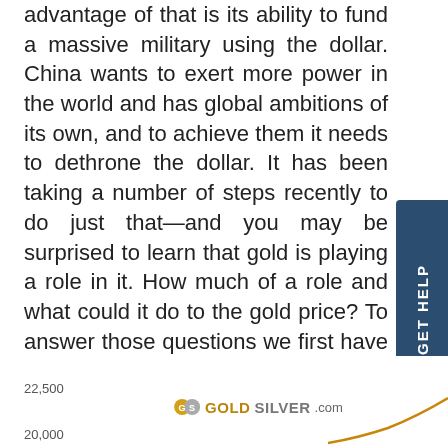advantage of that is its ability to fund a massive military using the dollar. China wants to exert more power in the world and has global ambitions of its own, and to achieve them it needs to dethrone the dollar. It has been taking a number of steps recently to do just that—and you may be surprised to learn that gold is playing a role in it. How much of a role and what could it do to the gold price? To answer those questions we first have to talk about China's motivations to leave the dollar system…
[Figure (other): Partial bottom of a chart showing y-axis labels 22,500 and 20,000, a GoldSilver.com logo, and an upward trending line at the bottom right corner.]